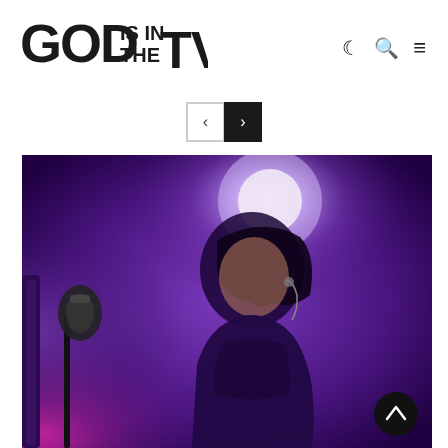GOD IS IN THE TV
[Figure (other): Navigation controls with previous and next buttons]
[Figure (photo): Concert photo of a female singer performing on stage under purple lighting with a microphone, in-ear monitor visible, spotlight in background]